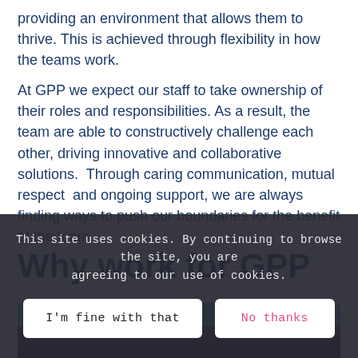providing an environment that allows them to thrive. This is achieved through flexibility in how the teams work.
At GPP we expect our staff to take ownership of their roles and responsibilities. As a result, the team are able to constructively challenge each other, driving innovative and collaborative solutions.  Through caring communication, mutual respect  and ongoing support, we are always finding ways to push our boundaries for the benefit of the team.
Why work for GPP
[Figure (photo): Blue banner and photo strip below the Why work for GPP heading, partially obscured by cookie consent overlay]
This site uses cookies. By continuing to browse the site, you are agreeing to our use of cookies.
I'm fine with that | No thanks